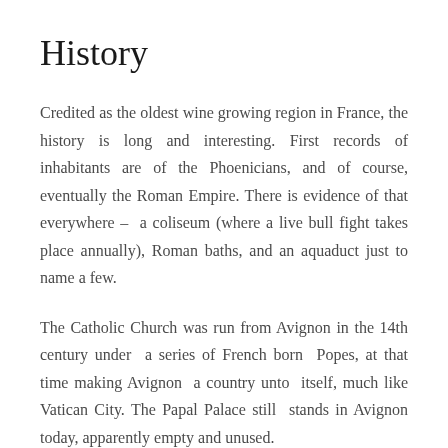History
Credited as the oldest wine growing region in France, the history is long and interesting. First records of inhabitants are of the Phoenicians, and of course, eventually the Roman Empire. There is evidence of that everywhere – a coliseum (where a live bull fight takes place annually), Roman baths, and an aquaduct just to name a few.
The Catholic Church was run from Avignon in the 14th century under a series of French born Popes, at that time making Avignon a country unto itself, much like Vatican City. The Papal Palace still stands in Avignon today, apparently empty and unused.